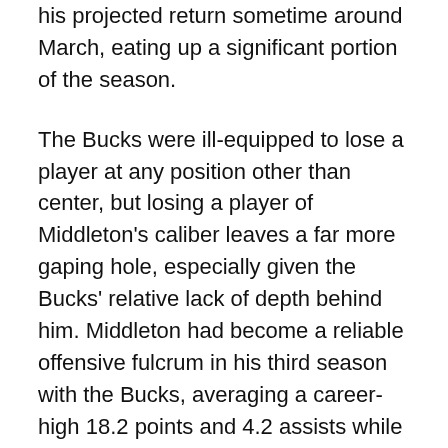his projected return sometime around March, eating up a significant portion of the season.
The Bucks were ill-equipped to lose a player at any position other than center, but losing a player of Middleton's caliber leaves a far more gaping hole, especially given the Bucks' relative lack of depth behind him. Middleton had become a reliable offensive fulcrum in his third season with the Bucks, averaging a career-high 18.2 points and 4.2 assists while hitting just under 40 percent from deep. Not only will his shooting be missed on a team that badly needs it, but his evolving ability to create offense will also be missed. Hinting at his broader impact, he also finished second among shooting guards in offensive RPM and fourth in total RPM, and the Bucks were a whopping 12.4 points/100 possessions better with him on the